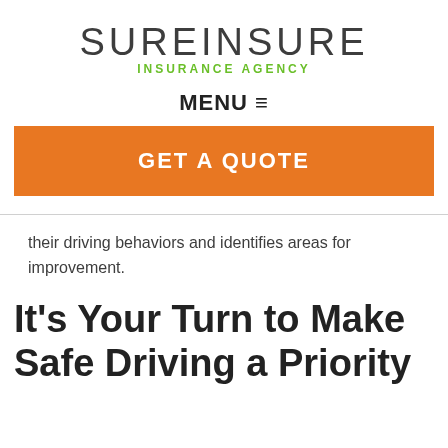[Figure (logo): SureInsure Insurance Agency logo with gray uppercase text and green subtitle]
MENU ≡
GET A QUOTE
their driving behaviors and identifies areas for improvement.
It's Your Turn to Make Safe Driving a Priority